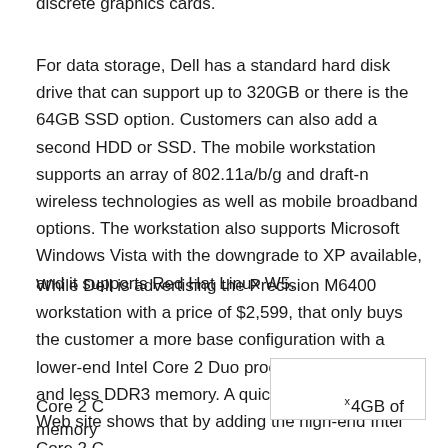discrete graphics cards.
For data storage, Dell has a standard hard disk drive that can support up to 320GB or there is the 64GB SSD option. Customers can also add a second HDD or SSD. The mobile workstation supports an array of 802.11a/b/g and draft-n wireless technologies as well as mobile broadband options. The workstation also supports Microsoft Windows Vista with the downgrade to XP available, and it supports Red Hat Linux W5.
While Dell is advertising the Precision M6400 workstation with a price of $2,599, that only buys the customer a more base configuration with a lower-end Intel Core 2 Duo processor, 80GB HDD and less DDR3 memory. A quick check of the Dell Web site shows that by adding the high-end Intel Core 2 C[...] 4GB of memory[...]